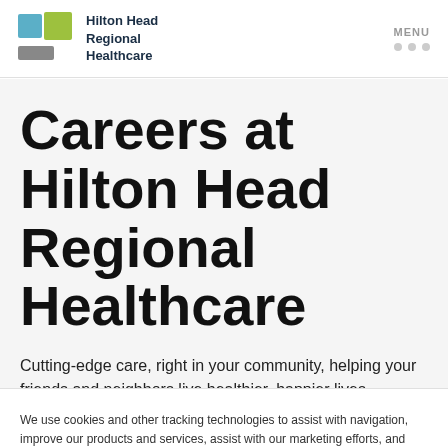[Figure (logo): Hilton Head Regional Healthcare logo with blue and green squares and grey rectangle icon]
Hilton Head Regional Healthcare — MENU
Careers at Hilton Head Regional Healthcare
Cutting-edge care, right in your community, helping your friends and neighbors live healthier, happier lives.
We use cookies and other tracking technologies to assist with navigation, improve our products and services, assist with our marketing efforts, and provide